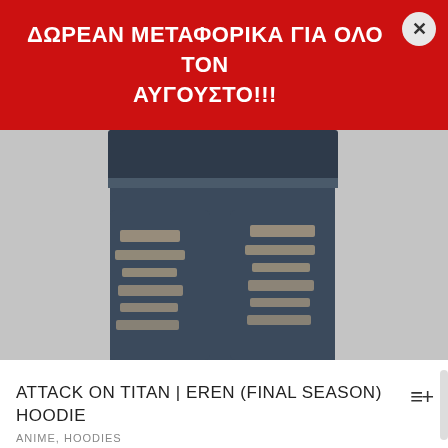[Figure (photo): Red promotional banner with white bold Greek text: ΔΩΡΕΑΝ ΜΕΤΑΦΟΡΙΚΑ ΓΙΑ ΟΛΟ ΤΟΝ ΑΥΓΟΥΣΤΟ!!! and a circular close (×) button on the top right]
[Figure (photo): Product photo showing the lower body of a model wearing ripped/distressed dark blue denim jeans on a grey background]
ATTACK ON TITAN | EREN (FINAL SEASON) HOODIE
ANIME, HOODIES
€30.00
[Figure (photo): Product photo showing the upper body and head of a female model with red/auburn hair on a grey background, partially cropped at bottom of page]